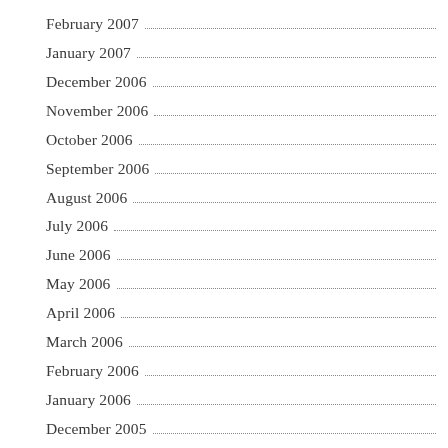February 2007
January 2007
December 2006
November 2006
October 2006
September 2006
August 2006
July 2006
June 2006
May 2006
April 2006
March 2006
February 2006
January 2006
December 2005